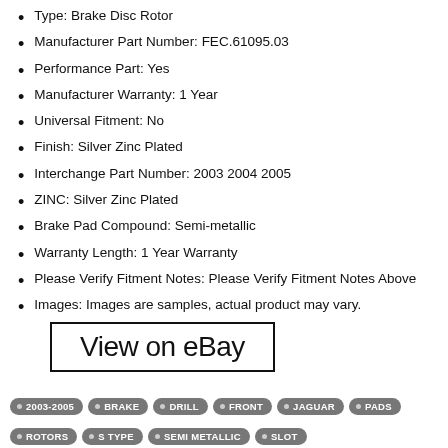Type: Brake Disc Rotor
Manufacturer Part Number: FEC.61095.03
Performance Part: Yes
Manufacturer Warranty: 1 Year
Universal Fitment: No
Finish: Silver Zinc Plated
Interchange Part Number: 2003 2004 2005
ZINC: Silver Zinc Plated
Brake Pad Compound: Semi-metallic
Warranty Length: 1 Year Warranty
Please Verify Fitment Notes: Please Verify Fitment Notes Above
Images: Images are samples, actual product may vary.
View on eBay
2003-2005 • BRAKE • DRILL • FRONT • JAGUAR • PADS • ROTORS • S TYPE • SEMI METALLIC • SLOT